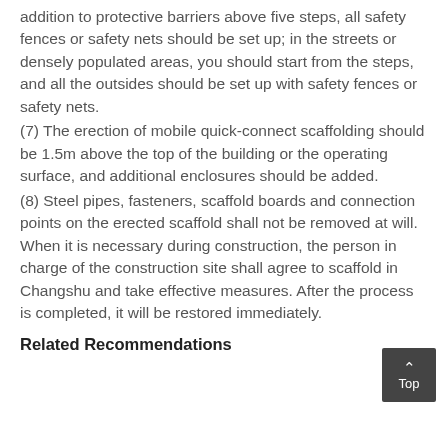addition to protective barriers above five steps, all safety fences or safety nets should be set up; in the streets or densely populated areas, you should start from the steps, and all the outsides should be set up with safety fences or safety nets.
(7) The erection of mobile quick-connect scaffolding should be 1.5m above the top of the building or the operating surface, and additional enclosures should be added.
(8) Steel pipes, fasteners, scaffold boards and connection points on the erected scaffold shall not be removed at will. When it is necessary during construction, the person in charge of the construction site shall agree to scaffold in Changshu and take effective measures. After the process is completed, it will be restored immediately.
Related Recommendations